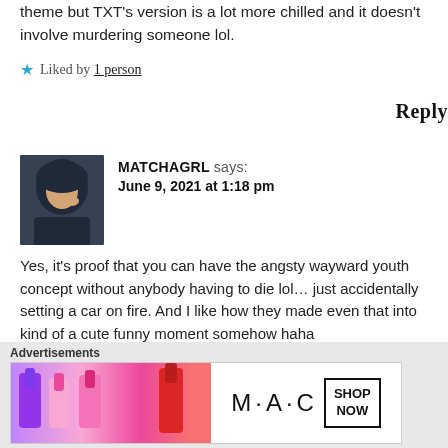theme but TXT's version is a lot more chilled and it doesn't involve murdering someone lol.
★ Liked by 1 person
Reply
[Figure (photo): Avatar photo of user MATCHAGRL, showing a person in a dark hoodie.]
MATCHAGRL says:
June 9, 2021 at 1:18 pm
Yes, it's proof that you can have the angsty wayward youth concept without anybody having to die lol… just accidentally setting a car on fire. And I like how they made even that into kind of a cute funny moment somehow haha
Like
Advertisements
[Figure (other): MAC Cosmetics advertisement banner showing colorful lipsticks with SHOP NOW button.]